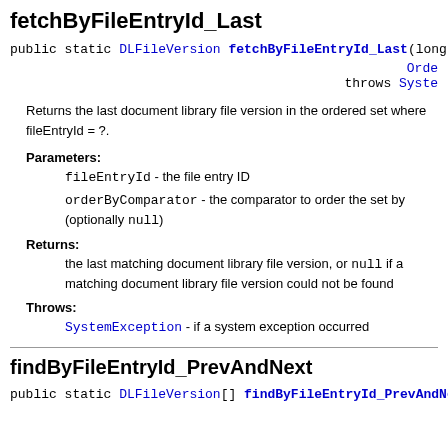fetchByFileEntryId_Last
public static DLFileVersion fetchByFileEntryId_Last(long ... throws Syste...
Returns the last document library file version in the ordered set where fileEntryId = ?.
Parameters:
fileEntryId - the file entry ID
orderByComparator - the comparator to order the set by (optionally null)
Returns:
the last matching document library file version, or null if a matching document library file version could not be found
Throws:
SystemException - if a system exception occurred
findByFileEntryId_PrevAndNext
public static DLFileVersion[] findByFileEntryId_PrevAndNe...